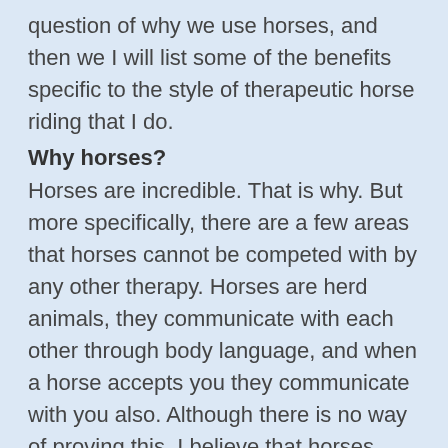question of why we use horses, and then we I will list some of the benefits specific to the style of therapeutic horse riding that I do.
Why horses?
Horses are incredible. That is why. But more specifically, there are a few areas that horses cannot be competed with by any other therapy. Horses are herd animals, they communicate with each other through body language, and when a horse accepts you they communicate with you also. Although there is no way of proving this, I believe that horses have all of the emotions that people have – happiness, sadness, anger, annoyance, empathy, fear, embarrassment and the list goes on. Because of this a horse expert can see exactly what the horses are feeling.